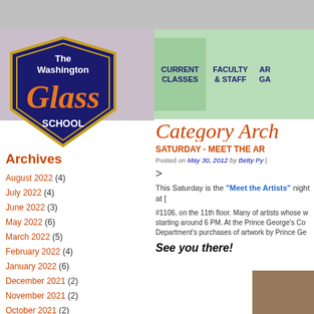[Figure (logo): The Washington Glass School shield logo with orange 'Glass' text]
CURRENT CLASSES | FACULTY & STAFF | AR... GA...
Category Arch...
SATURDAY - MEET THE AR...
Posted on May 30, 2012 by Betty Py |
>
This Saturday is the "Meet the Artists" night at [...]
#1106, on the 11th floor. Many of artists whose [...] starting around 6 PM. At the Prince George's Co... Department's purchases of artwork by Prince Ge...
See you there!
Archives
August 2022 (4)
July 2022 (4)
June 2022 (3)
May 2022 (6)
March 2022 (5)
February 2022 (4)
January 2022 (6)
December 2021 (2)
November 2021 (2)
October 2021 (2)
September 2021 (4)
August 2021 (3)
July 2021 (3)